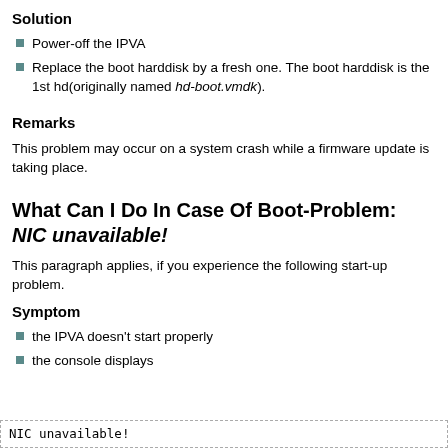Solution
Power-off the IPVA
Replace the boot harddisk by a fresh one. The boot harddisk is the 1st hd(originally named hd-boot.vmdk).
Remarks
This problem may occur on a system crash while a firmware update is taking place.
What Can I Do In Case Of Boot-Problem: NIC unavailable!
This paragraph applies, if you experience the following start-up problem.
Symptom
the IPVA doesn't start properly
the console displays
NIC unavailable!